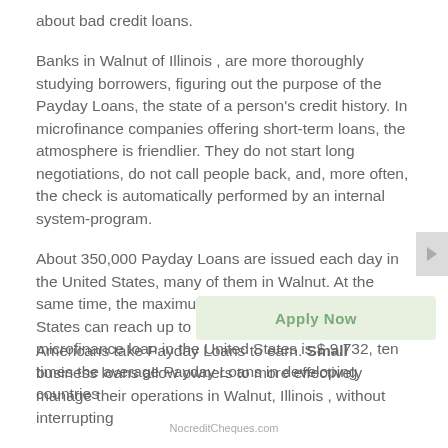about bad credit loans.
Banks in Walnut of Illinois , are more thoroughly studying borrowers, figuring out the purpose of the Payday Loans, the state of a person's credit history. In microfinance companies offering short-term loans, the atmosphere is friendlier. They do not start long negotiations, do not call people back, and, more often, the check is automatically performed by an internal system-program.
About 350,000 Payday Loans are issued each day in the United States, many of them in Walnut. At the same time, the maximum interest rates in the United States can reach up to 3% per day. The average microfinance loan in the United States is $ 9,732, ten times the average Payday Loans in developing countries
Americans take Payday Loans to earn. Small business loans allow owners to more effectively manage their operations in Walnut, Illinois , without interrupting